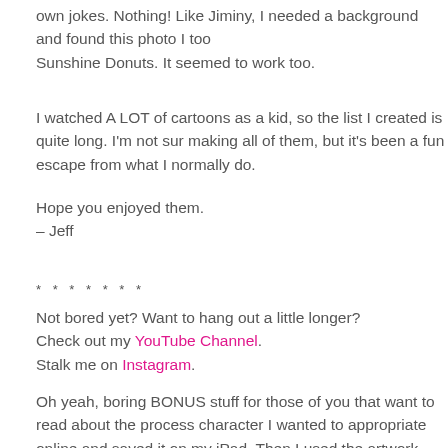own jokes. Nothing! Like Jiminy, I needed a background and found this photo I too Sunshine Donuts. It seemed to work too.
I watched A LOT of cartoons as a kid, so the list I created is quite long. I'm not sur making all of them, but it's been a fun escape from what I normally do.
Hope you enjoyed them.
– Jeff
* * * * * * *
Not bored yet? Want to hang out a little longer?
Check out my YouTube Channel.
Stalk me on Instagram.
Oh yeah, boring BONUS stuff for those of you that want to read about the process character I wanted to appropriate online and saved it on my iPad. Then I used the artwork. Procreate is now my go-to art app. I use it more than any of the others. I you draw a lot on an iPad I highly recommend it. It actually has made making digi and I've had a big problem with making digital art in the past. Ok, see you next tim